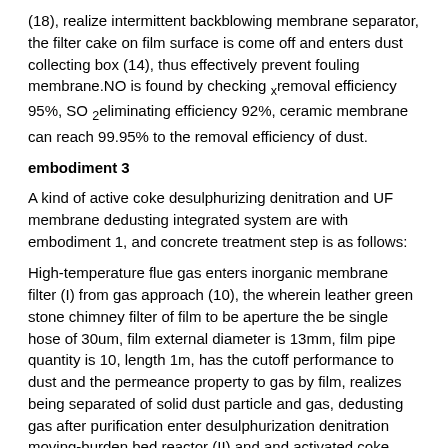(18), realize intermittent backblowing membrane separator, the filter cake on film surface is come off and enters dust collecting box (14), thus effectively prevent fouling membrane.NO is found by checking xremoval efficiency 95%, SO 2eliminating efficiency 92%, ceramic membrane can reach 99.95% to the removal efficiency of dust.
embodiment 3
A kind of active coke desulphurizing denitration and UF membrane dedusting integrated system are with embodiment 1, and concrete treatment step is as follows:
High-temperature flue gas enters inorganic membrane filter (I) from gas approach (10), the wherein leather green stone chimney filter of film to be aperture the be single hose of 30um, film external diameter is 13mm, film pipe quantity is 10, length 1m, has the cutoff performance to dust and the permeance property to gas by film, realizes being separated of solid dust particle and gas, dedusting gas after purification enter desulphurization denitration moving-burden bed reactor (II) and and activated coke counter current contacting, at desulfurization layer (3)